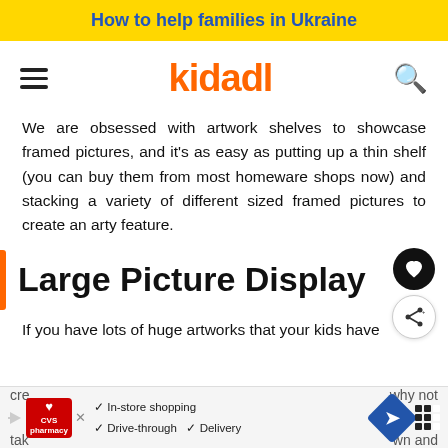How to help families in Ukraine
[Figure (logo): Kidadl website navigation bar with hamburger menu, kidadl logo in orange, and search icon]
We are obsessed with artwork shelves to showcase framed pictures, and it's as easy as putting up a thin shelf (you can buy them from most homeware shops now) and stacking a variety of different sized framed pictures to create an arty feature.
Large Picture Display
If you have lots of huge artworks that your kids have cre... why not tak... wn and